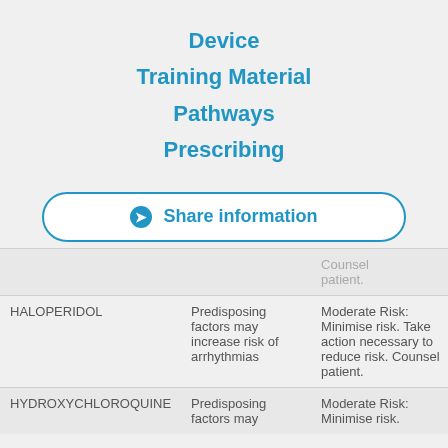Device
Training Material
Pathways
Prescribing
➔ Share information
|  |  | Counsel patient. |
| --- | --- | --- |
| HALOPERIDOL | Predisposing factors may increase risk of arrhythmias | Moderate Risk: Minimise risk. Take action necessary to reduce risk. Counsel patient. |
| HYDROXYCHLOROQUINE | Predisposing factors may | Moderate Risk: Minimise risk. |